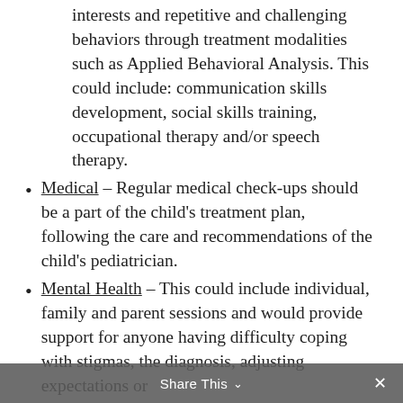interests and repetitive and challenging behaviors through treatment modalities such as Applied Behavioral Analysis. This could include: communication skills development, social skills training, occupational therapy and/or speech therapy.
Medical – Regular medical check-ups should be a part of the child's treatment plan, following the care and recommendations of the child's pediatrician.
Mental Health – This could include individual, family and parent sessions and would provide support for anyone having difficulty coping with stigmas, the diagnosis, adjusting expectations or